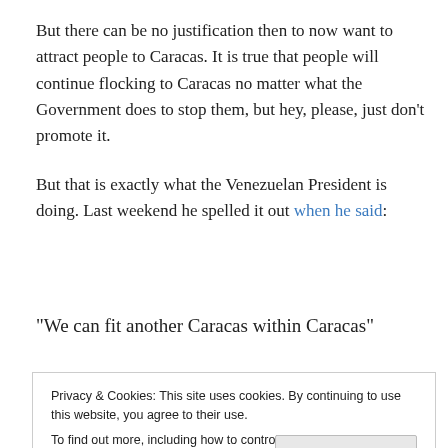But there can be no justification then to now want to attract people to Caracas. It is true that people will continue flocking to Caracas no matter what the Government does to stop them, but hey, please, just don't promote it.
But that is exactly what the Venezuelan President is doing. Last weekend he spelled it out when he said:
“We can fit another Caracas within Caracas”
Privacy & Cookies: This site uses cookies. By continuing to use this website, you agree to their use. To find out more, including how to control cookies, see here: Cookie Policy